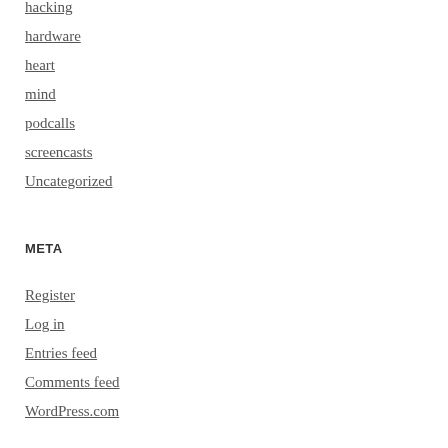hacking
hardware
heart
mind
podcalls
screencasts
Uncategorized
META
Register
Log in
Entries feed
Comments feed
WordPress.com